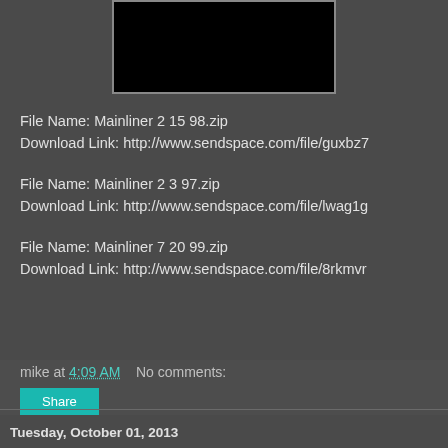[Figure (photo): Black rectangle image area at top center of page]
File Name: Mainliner 2 15 98.zip
Download Link: http://www.sendspace.com/file/guxbz7
File Name: Mainliner 2 3 97.zip
Download Link: http://www.sendspace.com/file/lwag1g
File Name: Mainliner 7 20 99.zip
Download Link: http://www.sendspace.com/file/8rkmvr
mike at 4:09 AM    No comments:
Share
Tuesday, October 01, 2013